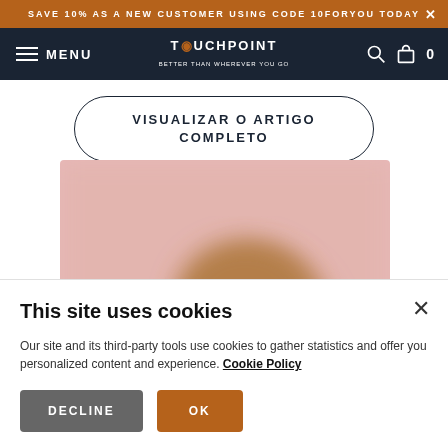SAVE 10% AS A NEW CUSTOMER USING CODE 10FORYOU TODAY ✕
[Figure (screenshot): TouchPoint website navigation bar with hamburger menu icon, MENU label, TouchPoint logo, search icon, shopping bag icon, and cart count 0]
VISUALIZAR O ARTIGO COMPLETO
[Figure (photo): Blurred photo of a person with hand raised to face, pink background]
This site uses cookies

Our site and its third-party tools use cookies to gather statistics and offer you personalized content and experience. Cookie Policy

DECLINE   OK